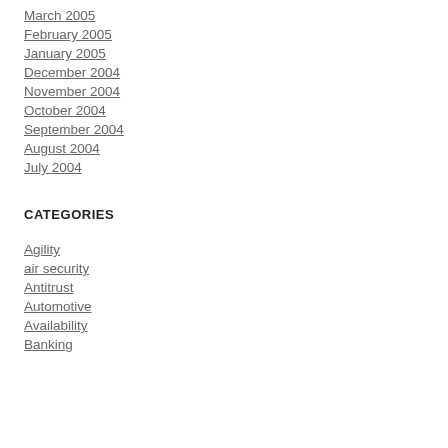March 2005
February 2005
January 2005
December 2004
November 2004
October 2004
September 2004
August 2004
July 2004
CATEGORIES
Agility
air security
Antitrust
Automotive
Availability
Banking